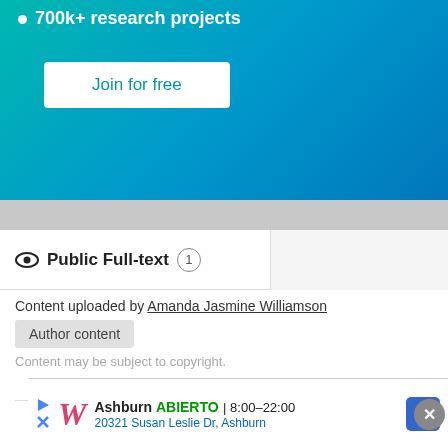700k+ research projects
Join for free
Public Full-text 1
Content uploaded by Amanda Jasmine Williamson
Author content
Content may be subject to copyright.
ENTREPRENEURIAL DISAPPOINTMENT: LET DOWN AND BREAKING DOWN: A MACHINE-LEARNING STUDY
Advertisement
Ashburn  ABIERTO | 8:00–22:00  20321 Susan Leslie Dr, Ashburn